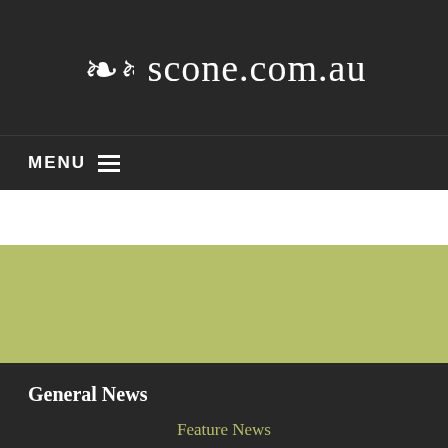❧❧ scone.com.au
MENU ≡
[Figure (other): White band placeholder area]
[Figure (other): Olive/yellow-green band placeholder area]
General News
Feature News
News Just In
Recent News